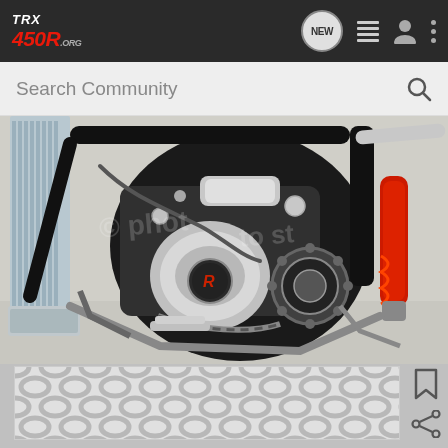TRX450R.ORG — Navigation bar with NEW, list, user, and more icons
Search Community
[Figure (photo): Close-up photo of a TRX 450R ATV engine showing chrome and black engine components, chain, sprockets, frame, radiator on the left, and red shock absorber on the right. Shutterstock watermark visible.]
[Figure (photo): Thumbnail preview strip at the bottom showing a partially visible chain link / hex pattern background thumbnail image]